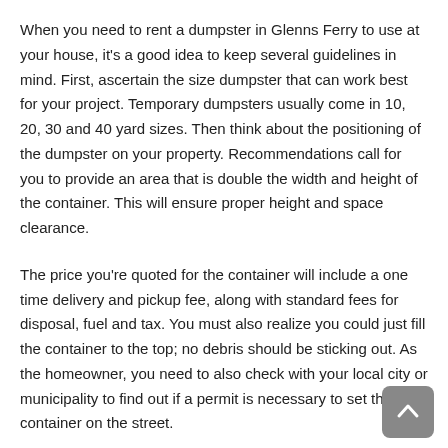When you need to rent a dumpster in Glenns Ferry to use at your house, it's a good idea to keep several guidelines in mind. First, ascertain the size dumpster that can work best for your project. Temporary dumpsters usually come in 10, 20, 30 and 40 yard sizes. Then think about the positioning of the dumpster on your property. Recommendations call for you to provide an area that is double the width and height of the container. This will ensure proper height and space clearance.
The price you're quoted for the container will include a one time delivery and pickup fee, along with standard fees for disposal, fuel and tax. You must also realize you could just fill the container to the top; no debris should be sticking out. As the homeowner, you need to also check with your local city or municipality to find out if a permit is necessary to set the container on the street.
Security Recommendations for Renting a Dumpster